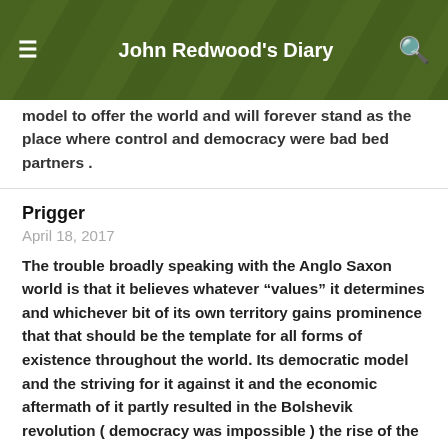John Redwood's Diary
model to offer the world and will forever stand as the place where control and democracy were bad bed partners .
Prigger
April 18, 2017
The trouble broadly speaking with the Anglo Saxon world is that it believes whatever “values” it determines and whichever bit of its own territory gains prominence that that should be the template for all forms of existence throughout the world. Its democratic model and the striving for it against it and the economic aftermath of it partly resulted in the Bolshevik revolution ( democracy was impossible ) the rise of the Nazi Party and two world wars. Belgium can’t handle democracy. Northern Ireland is always on the brink of disaster. The